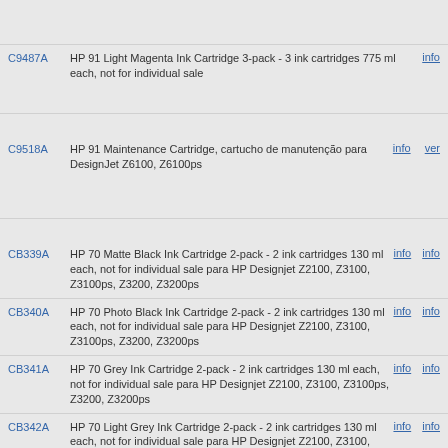C9487A - HP 91 Light Magenta Ink Cartridge 3-pack - 3 ink cartridges 775 ml each, not for individual sale
C9518A - HP 91 Maintenance Cartridge, cartucho de manutenção para DesignJet Z6100, Z6100ps
CB339A - HP 70 Matte Black Ink Cartridge 2-pack - 2 ink cartridges 130 ml each, not for individual sale para HP Designjet Z2100, Z3100, Z3100ps, Z3200, Z3200ps
CB340A - HP 70 Photo Black Ink Cartridge 2-pack - 2 ink cartridges 130 ml each, not for individual sale para HP Designjet Z2100, Z3100, Z3100ps, Z3200, Z3200ps
CB341A - HP 70 Grey Ink Cartridge 2-pack - 2 ink cartridges 130 ml each, not for individual sale para HP Designjet Z2100, Z3100, Z3100ps, Z3200, Z3200ps
CB342A - HP 70 Light Grey Ink Cartridge 2-pack - 2 ink cartridges 130 ml each, not for individual sale para HP Designjet Z2100, Z3100, Z3100ps, Z3200, Z3200ps
CB343A - HP 70 Cyan Ink Cartridge 2-pack - 2 ink cartridges 130 ml each, not for individual sale para HP Designjet Z2100, Z3100, Z3100ps, Z3200, Z3200ps
CB344A - HP 70 Magenta Ink Cartridge 2-pack - 2 ink cartridges 130 ml each, not for individual sale para HP Designjet Z2100, Z3100, Z3100ps, Z3200, Z3200ps